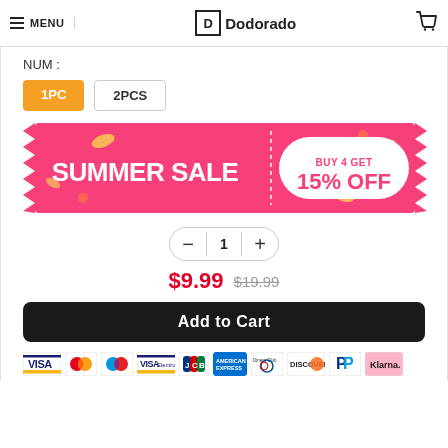MENU | Dodorado
NUM :
1PC
2PCS
[Figure (infographic): Pink summer sale banner with zigzag edges reading SUMMER SALE on the left and BUY 4 GET 15% OFF on the right in a white oval]
1
$9.99  $19.99
Add to Cart
[Figure (infographic): Row of payment method logos: VISA, Mastercard, Maestro, VISA Electron, JCB, American Express, Diners Club, Discover, PayPal, Klarna]